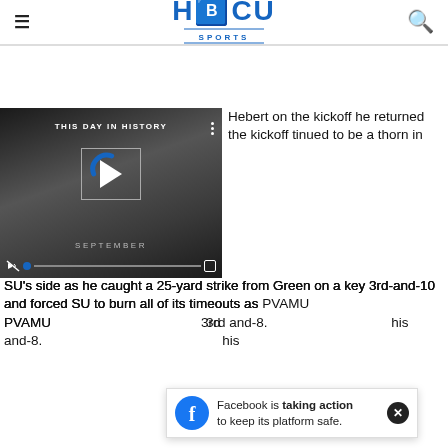HBCU SPORTS
[Figure (screenshot): Video thumbnail showing 'THIS DAY IN HISTORY' - SEPTEMBER, with play button, mute, and progress controls visible]
Hebert on the kickoff he returned the kickoff tinued to be a thorn in SU's side as he caught a 25-yard strike from Green on a key 3rd-and-10 and forced SU to burn all of its timeouts as PVAMU 3rd and-8. his
Facebook is taking action to keep its platform safe.